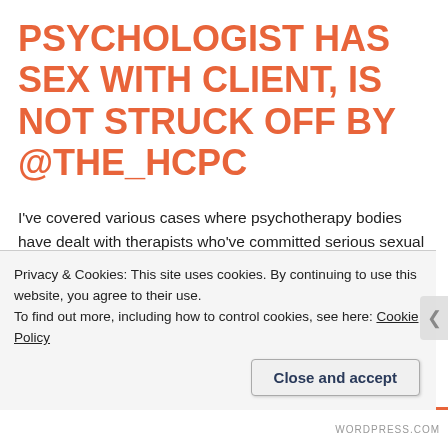PSYCHOLOGIST HAS SEX WITH CLIENT, IS NOT STRUCK OFF BY @THE_HCPC
I've covered various cases where psychotherapy bodies have dealt with therapists who've committed serious sexual misconduct by temporarily suspending them rather than permanently striking them off. These have included shocking cases such as Geoffrey Pick, Stuart Macfarlane and Rob Waygood.
There's a new name to add to this rogue's gallery, but this time there's a difference — it emerged that a d...
Privacy & Cookies: This site uses cookies. By continuing to use this website, you agree to their use.
To find out more, including how to control cookies, see here: Cookie Policy